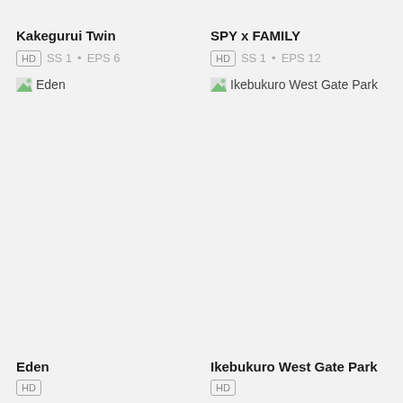Kakegurui Twin
HD SS 1 • EPS 6
[Figure (illustration): Thumbnail placeholder image for Eden]
SPY x FAMILY
HD SS 1 • EPS 12
[Figure (illustration): Thumbnail placeholder image for Ikebukuro West Gate Park]
Eden
Ikebukuro West Gate Park